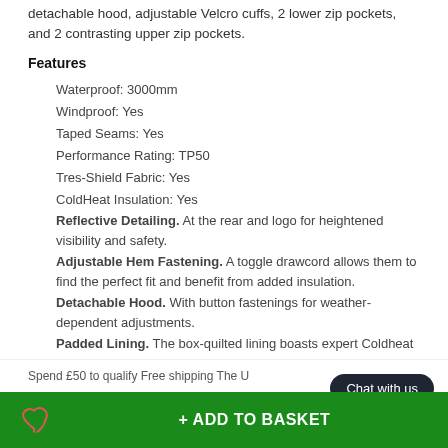detachable hood, adjustable Velcro cuffs, 2 lower zip pockets, and 2 contrasting upper zip pockets.
Features
Waterproof: 3000mm
Windproof: Yes
Taped Seams: Yes
Performance Rating: TP50
Tres-Shield Fabric: Yes
ColdHeat Insulation: Yes
Reflective Detailing. At the rear and logo for heightened visibility and safety.
Adjustable Hem Fastening. A toggle drawcord allows them to find the perfect fit and benefit from added insulation.
Detachable Hood. With button fastenings for weather-dependent adjustments.
Padded Lining. The box-quilted lining boasts expert Coldheat insulation technology to enhance warmth and comfort.
Technical
Spend £50 to qualify Free shipping The U...
Chat with us
+ ADD TO BASKET